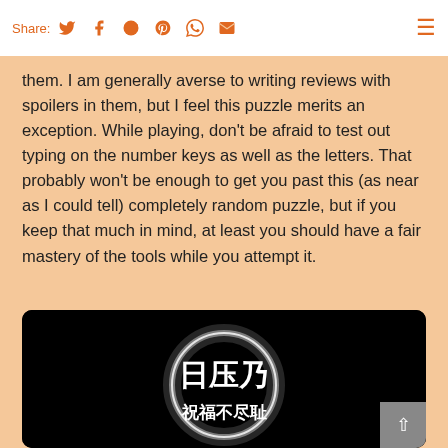Share: [twitter] [facebook] [reddit] [pinterest] [whatsapp] [email]
them. I am generally averse to writing reviews with spoilers in them, but I feel this puzzle merits an exception. While playing, don't be afraid to test out typing on the number keys as well as the letters. That probably won't be enough to get you past this (as near as I could tell) completely random puzzle, but if you keep that much in mind, at least you should have a fair mastery of the tools while you attempt it.
[Figure (screenshot): Dark/black background with a glowing white circular halo and white stylized characters (possibly Chinese or symbolic script) in the center, with additional smaller characters below the main ones.]